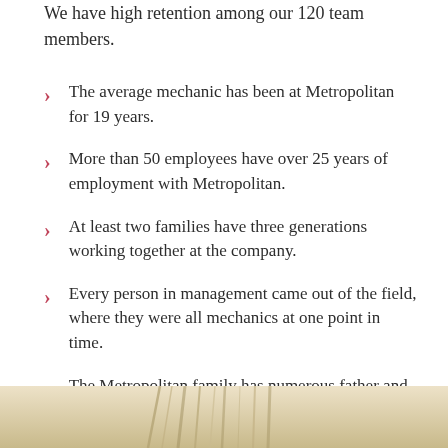We have high retention among our 120 team members.
The average mechanic has been at Metropolitan for 19 years.
More than 50 employees have over 25 years of employment with Metropolitan.
At least two families have three generations working together at the company.
Every person in management came out of the field, where they were all mechanics at one point in time.
The Metropolitan family has numerous father and son duos working as mechanics.
[Figure (photo): Partial photo at the bottom of the page showing what appears to be metallic/mechanical elements in a warm beige/gold tone.]